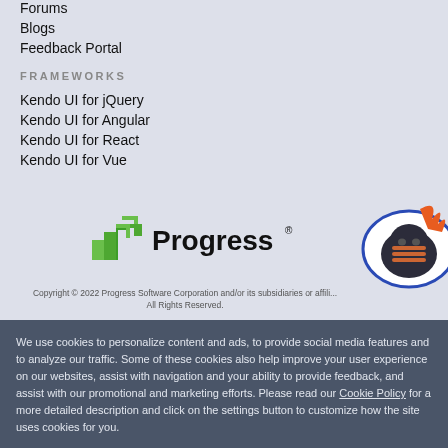Forums
Blogs
Feedback Portal
FRAMEWORKS
Kendo UI for jQuery
Kendo UI for Angular
Kendo UI for React
Kendo UI for Vue
[Figure (logo): Progress software logo with green angular arrow icon and 'Progress' text with registered trademark symbol]
[Figure (illustration): Ninja mascot character in a circular oval badge shape with orange feather/flame accent]
Copyright © 2022 Progress Software Corporation and/or its subsidiaries or affiliates. All Rights Reserved.
We use cookies to personalize content and ads, to provide social media features and to analyze our traffic. Some of these cookies also help improve your user experience on our websites, assist with navigation and your ability to provide feedback, and assist with our promotional and marketing efforts. Please read our Cookie Policy for a more detailed description and click on the settings button to customize how the site uses cookies for you.